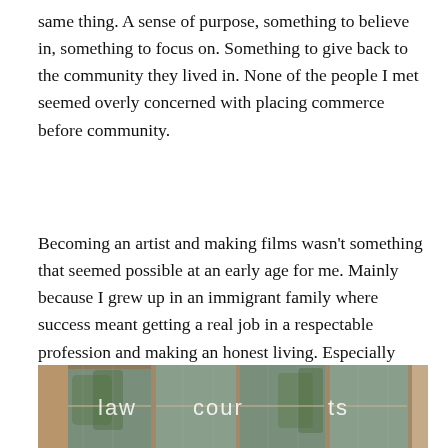same thing. A sense of purpose, something to believe in, something to focus on. Something to give back to the community they lived in. None of the people I met seemed overly concerned with placing commerce before community.
Becoming an artist and making films wasn't something that seemed possible at an early age for me. Mainly because I grew up in an immigrant family where success meant getting a real job in a respectable profession and making an honest living. Especially coming from a family who were tailors in Poland and Russia pre World War 2.
[Figure (photo): Photo of a law courts building entrance with glass doors and windows. White text 'law courts' is visible reflected or printed on the glass panels. Trees are reflected in the glass.]